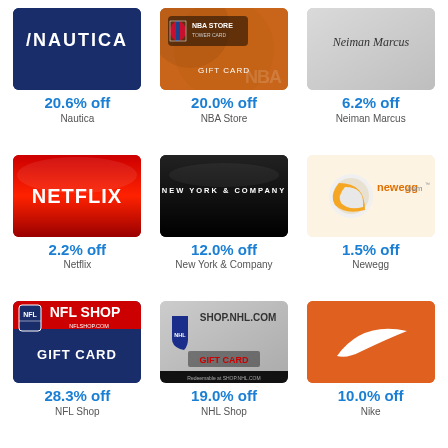[Figure (illustration): Nautica gift card - navy blue background with NAUTICA logo in white]
20.6% off
Nautica
[Figure (illustration): NBA Store gift card - basketball texture background with NBA Store logo]
20.0% off
NBA Store
[Figure (illustration): Neiman Marcus gift card - silver/grey background with Neiman Marcus script logo]
6.2% off
Neiman Marcus
[Figure (illustration): Netflix gift card - red background with NETFLIX text in white]
2.2% off
Netflix
[Figure (illustration): New York & Company gift card - black background with NEW YORK & COMPANY text]
12.0% off
New York & Company
[Figure (illustration): Newegg gift card - cream background with newegg.com logo and orange swoosh]
1.5% off
Newegg
[Figure (illustration): NFL Shop gift card - navy/red with NFL SHOP NFLSHOP.COM text and GIFT CARD]
28.3% off
NFL Shop
[Figure (illustration): NHL Shop gift card - grey with SHOP.NHL.COM GIFT CARD text]
19.0% off
NHL Shop
[Figure (illustration): Nike gift card - orange background with white Nike swoosh logo]
10.0% off
Nike